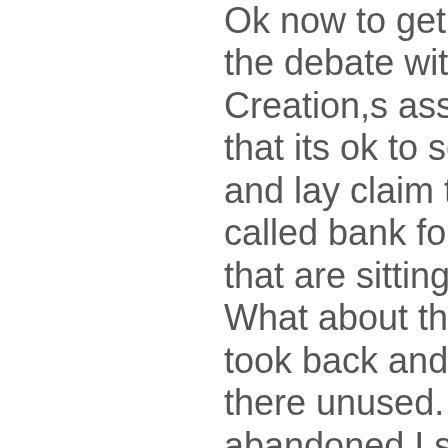Ok now to get back to the debate with Gods Creation,s assertion that its ok to squat in and lay claim to so called bank foreclosures that are sitting & rotting. What about the land I took back and its sitting there unused. Its not abandoned I still pay the taxes and it has a no trespassing sign on it. So what if its overgrown & run down? How does that make it fair game for someone who has ought naught to do with it? Yep I dare Gods Creation or some other squatting thief to move in fix up the place and plant a garden ect. Ill never let you stay the 7 years required to